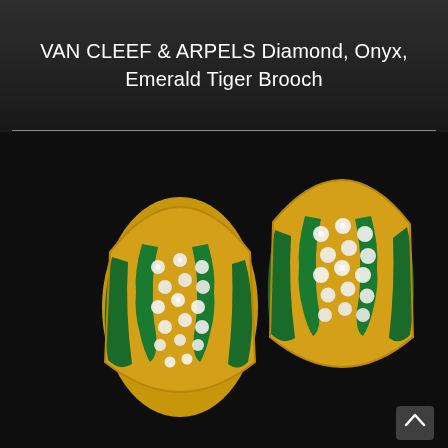VAN CLEEF & ARPELS Diamond, Onyx, Emerald Tiger Brooch
[Figure (photo): Photo of two Van Cleef & Arpels earrings in yellow gold, pave-set with round diamonds and calibre-cut emerald accents in a tiger-stripe pattern, shown against a black background.]